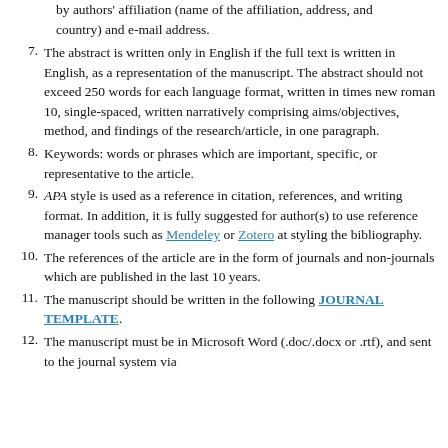(continuation) by authors' affiliation (name of the affiliation, address, and country) and e-mail address.
7. The abstract is written only in English if the full text is written in English, as a representation of the manuscript. The abstract should not exceed 250 words for each language format, written in times new roman 10, single-spaced, written narratively comprising aims/objectives, method, and findings of the research/article, in one paragraph.
8. Keywords: words or phrases which are important, specific, or representative to the article.
9. APA style is used as a reference in citation, references, and writing format. In addition, it is fully suggested for author(s) to use reference manager tools such as Mendeley or Zotero at styling the bibliography.
10. The references of the article are in the form of journals and non-journals which are published in the last 10 years.
11. The manuscript should be written in the following JOURNAL TEMPLATE.
12. The manuscript must be in Microsoft Word (.doc/.docx or .rtf), and sent to the journal system via